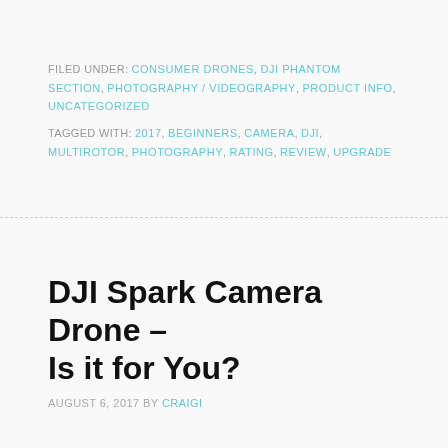FILED UNDER: CONSUMER DRONES, DJI PHANTOM SECTION, PHOTOGRAPHY / VIDEOGRAPHY, PRODUCT INFO, UNCATEGORIZED
TAGGED WITH: 2017, BEGINNERS, CAMERA, DJI, MULTIROTOR, PHOTOGRAPHY, RATING, REVIEW, UPGRADE
DJI Spark Camera Drone – Is it for You?
AUGUST 6, 2017 BY CRAIGI
[Figure (photo): Partial view of a DJI Spark drone from below, showing two arms/propeller mounts against a white background, cropped at the bottom of the page.]